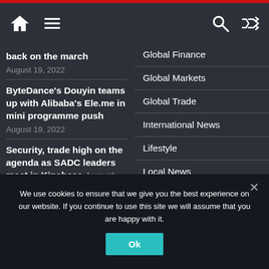Navigation bar with home, menu, search, and shuffle icons
back on the march
August 19, 2022
ByteDance's Douyin teams up with Alibaba's Ele.me in mini programme push
August 19, 2022
Security, trade high on the agenda as SADC leaders meet in Kinshasa August
Global Finance
Global Markets
Global Trade
International News
Lifestyle
Local News
MARITIME
Most Popular
Opinion
We use cookies to ensure that we give you the best experience on our website. If you continue to use this site we will assume that you are happy with it.
Ok